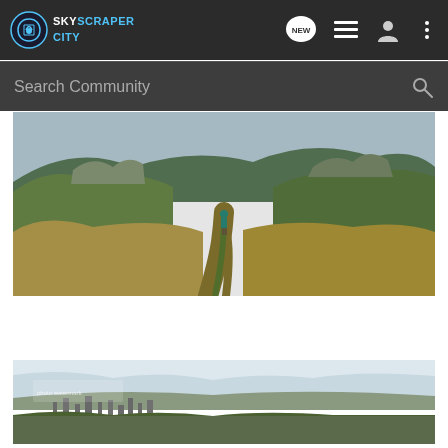SkyscraperCity
Search Community
[Figure (photo): A hiking trail through a green valley with tall dry grass on both sides, a person in a teal shirt walking along the path, rocky hills and mountains in the background under a pale blue sky.]
[Figure (photo): Panoramic view of a city from a hillside, with green vegetation in the foreground and an urban area with buildings visible below, under a partly cloudy sky.]